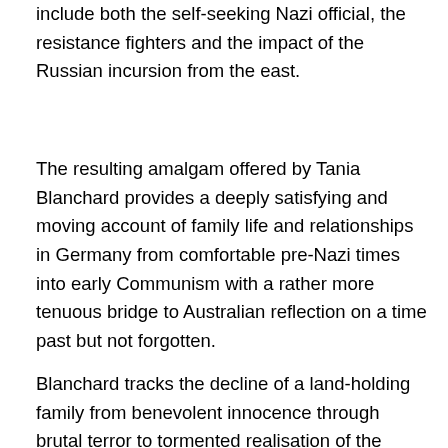include both the self-seeking Nazi official, the resistance fighters and the impact of the Russian incursion from the east.
The resulting amalgam offered by Tania Blanchard provides a deeply satisfying and moving account of family life and relationships in Germany from comfortable pre-Nazi times into early Communism with a rather more tenuous bridge to Australian reflection on a time past but not forgotten.
Blanchard tracks the decline of a land-holding family from benevolent innocence through brutal terror to tormented realisation of the unrelenting brutality of both the Nazi and succeeding Communist regimes in East Germany. Adoption as a trail from loss and a path to survival feature heart-rendingly in some of the more powerful scenes while the sweetness and the bitterness